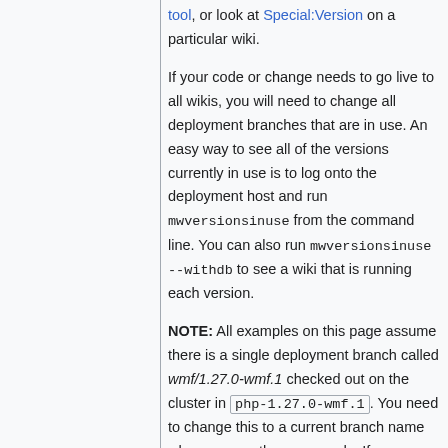tool, or look at Special:Version on a particular wiki.
If your code or change needs to go live to all wikis, you will need to change all deployment branches that are in use. An easy way to see all of the versions currently in use is to log onto the deployment host and run mwversionsinuse from the command line. You can also run mwversionsinuse --withdb to see a wiki that is running each version.
NOTE: All examples on this page assume there is a single deployment branch called wmf/1.27.0-wmf.1 checked out on the cluster in php-1.27.0-wmf.1. You need to change this to a current branch name when you run the commands. If you are updating multiple deployment branches, simply repeat the